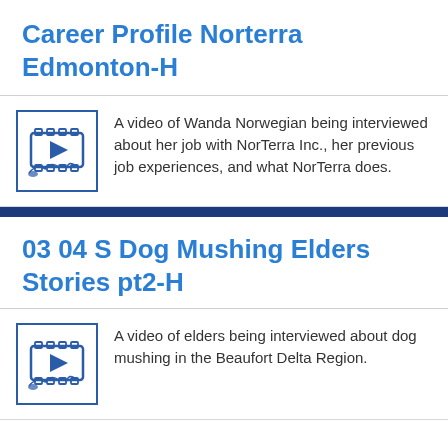Career Profile Norterra Edmonton-H
A video of Wanda Norwegian being interviewed about her job with NorTerra Inc., her previous job experiences, and what NorTerra does.
03 04 S Dog Mushing Elders Stories pt2-H
A video of elders being interviewed about dog mushing in the Beaufort Delta Region.